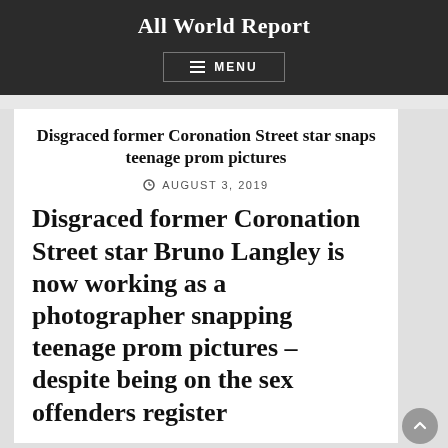All World Report
Disgraced former Coronation Street star snaps teenage prom pictures
AUGUST 3, 2019
Disgraced former Coronation Street star Bruno Langley is now working as a photographer snapping teenage prom pictures – despite being on the sex offenders register